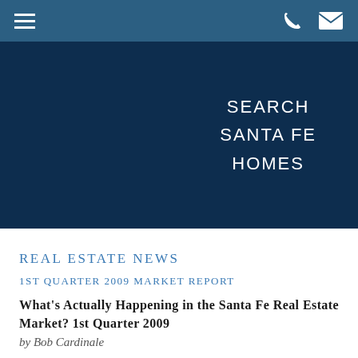Navigation bar with hamburger menu and phone/email icons
[Figure (other): Dark navy blue hero banner with centered text reading SEARCH SANTA FE HOMES]
REAL ESTATE NEWS
1ST QUARTER 2009 MARKET REPORT
What's Actually Happening in the Santa Fe Real Estate Market? 1st Quarter 2009
by Bob Cardinale